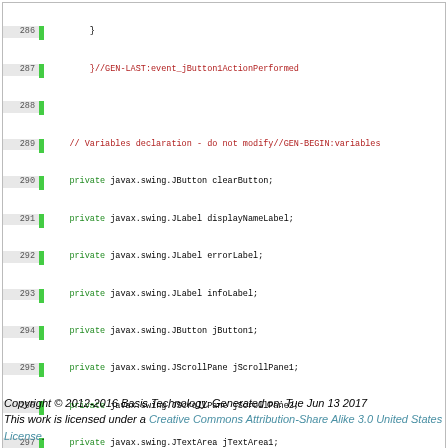[Figure (screenshot): Code editor screenshot showing Java source code lines 286-302 with line numbers, green gutter bar, and syntax highlighting (green for 'private' keyword, red/brown for comments and generated code markers)]
Copyright © 2012-2016 Basis Technology. Generated on: Tue Jun 13 2017
This work is licensed under a Creative Commons Attribution-Share Alike 3.0 United States License.